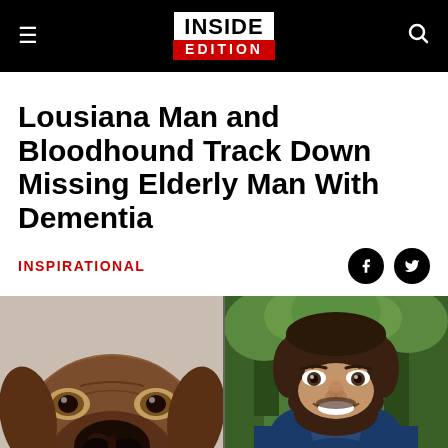INSIDE EDITION
Lousiana Man and Bloodhound Track Down Missing Elderly Man With Dementia
INSPIRATIONAL
[Figure (photo): Split image: left side shows a close-up of a bloodhound dog's face looking up at camera with a person in grey shirt behind; right side shows a smiling young man with a beard wearing a navy blue polo shirt, outdoors with green trees in background.]